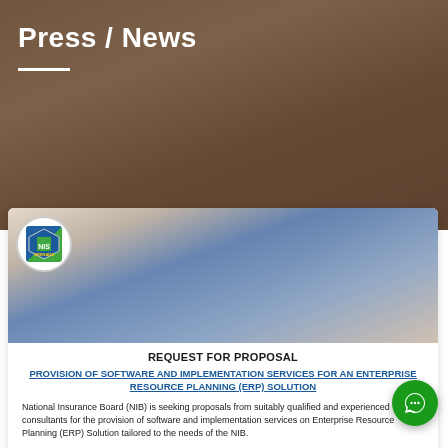Press / News
[Figure (photo): Hero background image showing a person working at a desk with papers and a laptop, overlaid with brown/tan tones]
[Figure (photo): Photo of two people (man in blue shirt and woman in red top) looking at a tablet/laptop together, with NIB/NIS Grenada logo badge in top left corner]
REQUEST FOR PROPOSAL
PROVISION OF SOFTWARE AND IMPLEMENTATION SERVICES FOR AN ENTERPRISE RESOURCE PLANNING (ERP) SOLUTION
National Insurance Board (NIB) is seeking proposals from suitably qualified and experienced consultants for the provision of software and implementation services on Enterprise Resource Planning (ERP) Solution tailored to the needs of the NIB.
Quotations must be in accordance with the instructions and specifications contained in the tender documents which can be obtained at no cost, at the office of the NIS, Melville Street, St. George's.